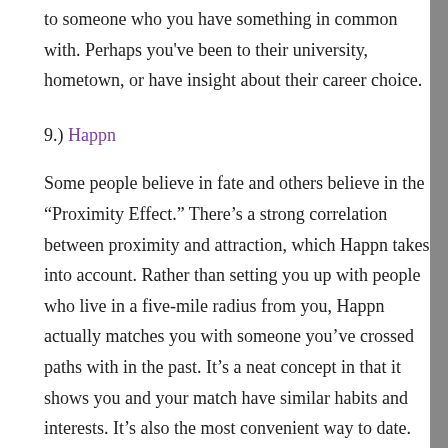to someone who you have something in common with. Perhaps you've been to their university, hometown, or have insight about their career choice.
9.) Happn
Some people believe in fate and others believe in the “Proximity Effect.” There’s a strong correlation between proximity and attraction, which Happn takes into account. Rather than setting you up with people who live in a five-mile radius from you, Happn actually matches you with someone you’ve crossed paths with in the past. It’s a neat concept in that it shows you and your match have similar habits and interests. It’s also the most convenient way to date.
We’ll be honest though, there aren’t a ton of people who use Happn, so there might be slim pickings. There have also been reports that the daters you’ve apparently “crossed paths with” are